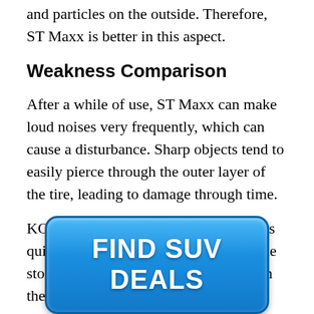and particles on the outside. Therefore, ST Maxx is better in this aspect.
Weakness Comparison
After a while of use, ST Maxx can make loud noises very frequently, which can cause a disturbance. Sharp objects tend to easily pierce through the outer layer of the tire, leading to damage through time.
KO2, thanks to its massive design, stays quiet while maneuvering; however, little stones and debris can get stuck between the lines, so imbalance after an
[Figure (other): Blue rounded rectangle button with bold white uppercase text reading FIND SUV DEALS]